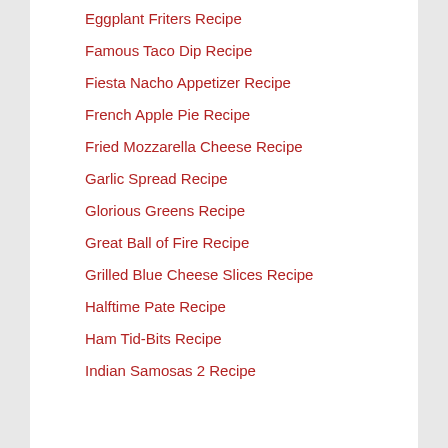Eggplant Friters Recipe
Famous Taco Dip Recipe
Fiesta Nacho Appetizer Recipe
French Apple Pie Recipe
Fried Mozzarella Cheese Recipe
Garlic Spread Recipe
Glorious Greens Recipe
Great Ball of Fire Recipe
Grilled Blue Cheese Slices Recipe
Halftime Pate Recipe
Ham Tid-Bits Recipe
Indian Samosas 2 Recipe